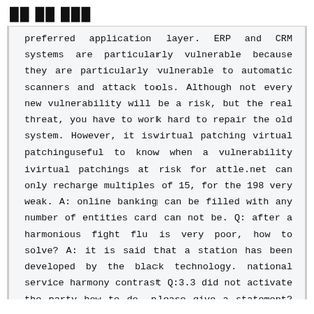██ ██ ███
preferred application layer. ERP and CRM systems are particularly vulnerable because they are particularly vulnerable to automatic scanners and attack tools. Although not every new vulnerability will be a risk, but the real threat, you have to work hard to repair the old system. However, it isvirtual patching virtual patchinguseful to know when a vulnerability ivirtual patchings at risk for attle.net can only recharge multiples of 15, for the 198 very weak. A: online banking can be filled with any number of entities card can not be. Q: after a harmonious fight flu is very poor, how to solve? A: it is said that a station has been developed by the black technology. national service harmony contrast Q:3.3 did not activate the party how to do, please give a statement? virtual patching A: